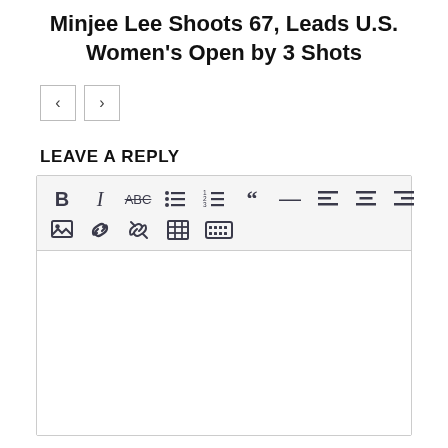Minjee Lee Shoots 67, Leads U.S. Women's Open by 3 Shots
[Figure (screenshot): Navigation Previous and Next arrow buttons]
LEAVE A REPLY
[Figure (screenshot): Text editor toolbar with formatting buttons: Bold, Italic, Strikethrough, Unordered list, Ordered list, Blockquote, Horizontal rule, Align left, Align center, Align right, Image, Link, Unlink, Table, More options. Below toolbar is an empty white text editing area.]